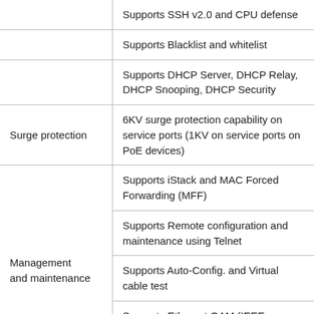| Feature | Description |
| --- | --- |
|  | Supports SSH v2.0 and CPU defense |
|  | Supports Blacklist and whitelist |
|  | Supports DHCP Server, DHCP Relay, DHCP Snooping, DHCP Security |
| Surge protection | 6KV surge protection capability on service ports (1KV on service ports on PoE devices) |
| Management and maintenance | Supports iStack and MAC Forced Forwarding (MFF) |
|  | Supports Remote configuration and maintenance using Telnet |
|  | Supports Auto-Config. and Virtual cable test |
|  | Supports Ethernet OAM (IEEE 802.3ah and 802.1ag) |
|  | Supports SNMP v1/v2c/v3 and RMON |